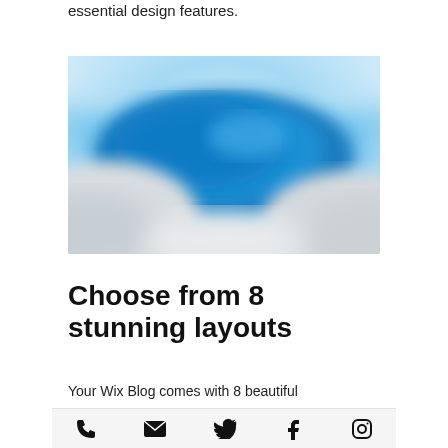essential design features.
[Figure (photo): Blurred aerial photo showing blue sky with clouds and mountainous or snowy terrain below, with soft bokeh effect.]
Choose from 8 stunning layouts
Your Wix Blog comes with 8 beautiful
[Figure (infographic): Footer bar with social/contact icons: phone, email/envelope, Twitter bird, Facebook F, Instagram camera.]